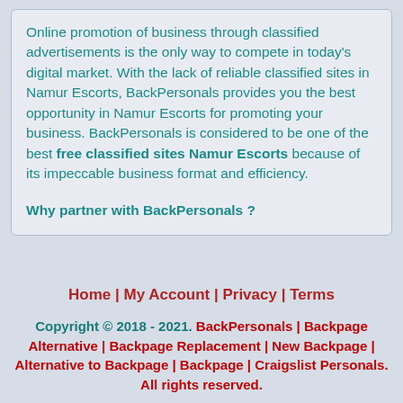Online promotion of business through classified advertisements is the only way to compete in today's digital market. With the lack of reliable classified sites in Namur Escorts, BackPersonals provides you the best opportunity in Namur Escorts for promoting your business. BackPersonals is considered to be one of the best free classified sites Namur Escorts because of its impeccable business format and efficiency.
Why partner with BackPersonals ?
Home | My Account | Privacy | Terms
Copyright © 2018 - 2021. BackPersonals | Backpage Alternative | Backpage Replacement | New Backpage | Alternative to Backpage | Backpage | Craigslist Personals. All rights reserved.